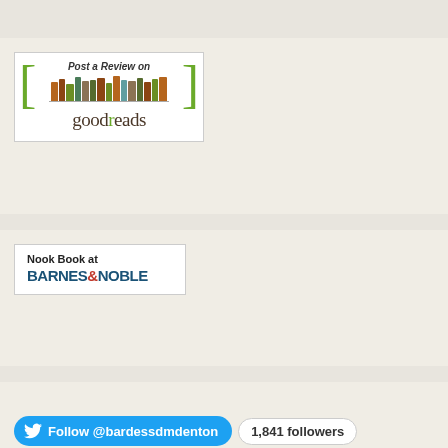[Figure (logo): Post a Review on Goodreads banner widget with green brackets, book spines image, and goodreads logo]
[Figure (logo): Nook Book at Barnes & Noble banner widget]
[Figure (screenshot): Twitter Follow @bardessdmdenton button with 1,841 followers count badge]